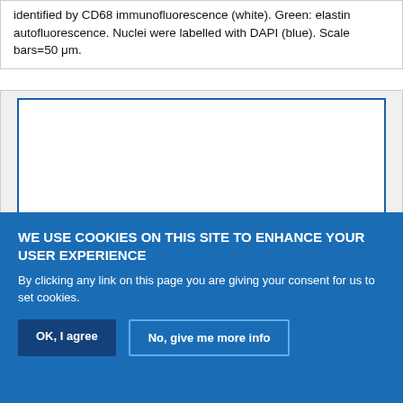identified by CD68 immunofluorescence (white). Green: elastin autofluorescence. Nuclei were labelled with DAPI (blue). Scale bars=50 μm.
[Figure (photo): Blank white rectangular figure area with blue border, representing a microscopy image placeholder.]
WE USE COOKIES ON THIS SITE TO ENHANCE YOUR USER EXPERIENCE
By clicking any link on this page you are giving your consent for us to set cookies.